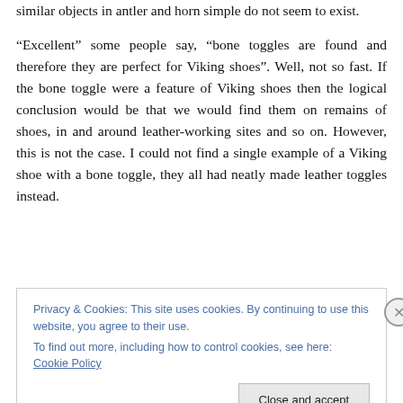similar objects in antler and horn simple do not seem to exist.
“Excellent” some people say, “bone toggles are found and therefore they are perfect for Viking shoes”. Well, not so fast. If the bone toggle were a feature of Viking shoes then the logical conclusion would be that we would find them on remains of shoes, in and around leather-working sites and so on. However, this is not the case. I could not find a single example of a Viking shoe with a bone toggle, they all had neatly made leather toggles instead.
Privacy & Cookies: This site uses cookies. By continuing to use this website, you agree to their use.
To find out more, including how to control cookies, see here: Cookie Policy